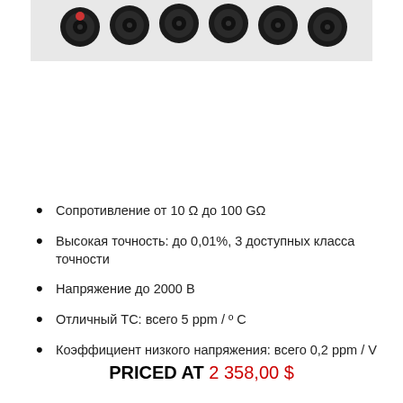[Figure (photo): Product photo showing a row of black electronic components (resistors or similar) on a white/light background, cropped at the top]
Сопротивление от 10 Ω до 100 GΩ
Высокая точность: до 0,01%, 3 доступных класса точности
Напряжение до 2000 В
Отличный ТС: всего 5 ppm / º C
Коэффициент низкого напряжения: всего 0,2 ppm / V
PRICED AT 2 358,00 $